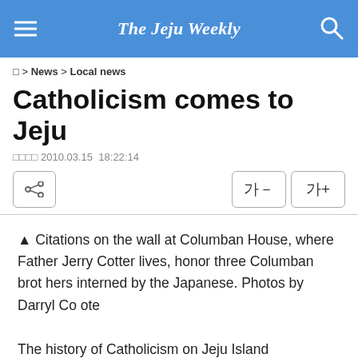The Jeju Weekly
□ > News > Local news
Catholicism comes to Jeju
□□□□ 2010.03.15  18:22:14
▲ Citations on the wall at Columban House, where Father Jerry Cotter lives, honor three Columban brothers interned by the Japanese. Photos by Darryl Coote
The history of Catholicism on Jeju Island encompasses more than 100 years and is a tale of strife, persecuti